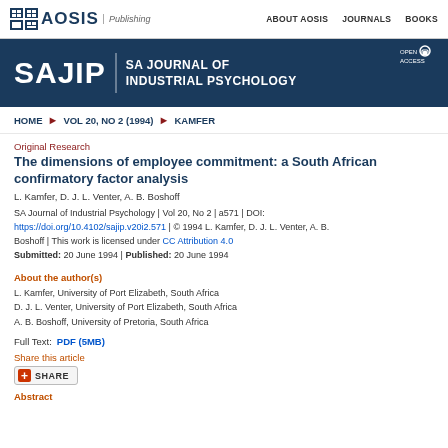AOSIS Publishing | ABOUT AOSIS | JOURNALS | BOOKS
[Figure (logo): SAJIP SA Journal of Industrial Psychology banner with Open Access badge]
HOME ▶ VOL 20, NO 2 (1994) ▶ KAMFER
Original Research
The dimensions of employee commitment: a South African confirmatory factor analysis
L. Kamfer, D. J. L. Venter, A. B. Boshoff
SA Journal of Industrial Psychology | Vol 20, No 2 | a571 | DOI: https://doi.org/10.4102/sajip.v20i2.571 | © 1994 L. Kamfer, D. J. L. Venter, A. B. Boshoff | This work is licensed under CC Attribution 4.0 Submitted: 20 June 1994 | Published: 20 June 1994
About the author(s)
L. Kamfer, University of Port Elizabeth, South Africa
D. J. L. Venter, University of Port Elizabeth, South Africa
A. B. Boshoff, University of Pretoria, South Africa
Full Text: PDF (5MB)
Share this article
Abstract